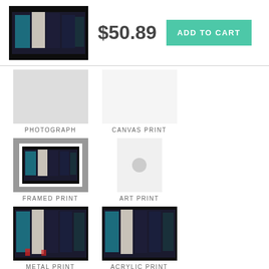[Figure (photo): Small thumbnail of basketball players in team uniforms on dark background]
$50.89
ADD TO CART
[Figure (photo): Photograph product option - basketball players photo]
PHOTOGRAPH
[Figure (photo): Canvas Print product option - basketball players photo]
CANVAS PRINT
[Figure (photo): Framed Print product option - basketball players photo in frame]
FRAMED PRINT
[Figure (photo): Art Print product option - placeholder]
ART PRINT
[Figure (photo): Metal Print product option - basketball players photo]
METAL PRINT
[Figure (photo): Acrylic Print product option - basketball players photo]
ACRYLIC PRINT
[Figure (photo): Wood Print product option - basketball players photo]
WOOD PRINT